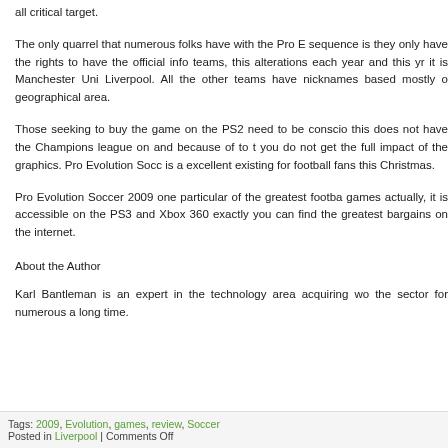all critical target.
The only quarrel that numerous folks have with the Pro E sequence is they only have the rights to have the official info teams, this alterations each year and this yr it is Manchester Uni Liverpool. All the other teams have nicknames based mostly o geographical area.
Those seeking to buy the game on the PS2 need to be conscio this does not have the Champions league on and because of to t you do not get the full impact of the graphics. Pro Evolution Socc is a excellent existing for football fans this Christmas.
Pro Evolution Soccer 2009 one particular of the greatest footba games actually, it is accessible on the PS3 and Xbox 360 exactly you can find the greatest bargains on the internet.
About the Author
Karl Bantleman is an expert in the technology area acquiring wo the sector for numerous a long time.
Tags: 2009, Evolution, games, review, Soccer
Posted in Liverpool | Comments Off